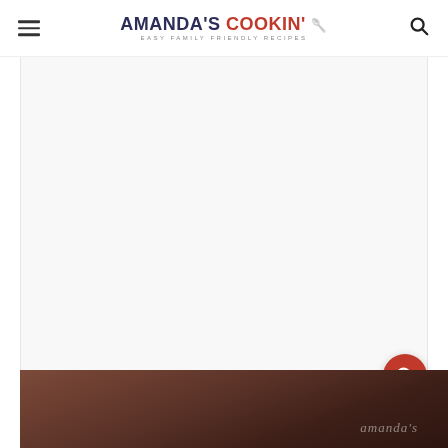Amanda's Cookin' — Easy Family Friendly Recipes
[Figure (photo): Large white/light gray content area placeholder for recipe image]
154.9k
[Figure (illustration): Heart/like button (white circle with pink heart icon)]
[Figure (illustration): Search button (red/pink circle with search/magnifying glass icon)]
[Figure (photo): Bottom partial photo showing dark chocolate-colored food with Amanda's watermark]